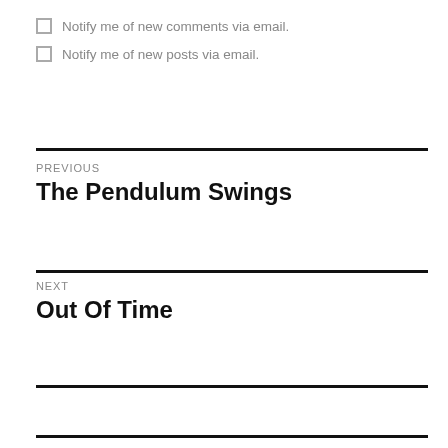Notify me of new comments via email.
Notify me of new posts via email.
Previous
The Pendulum Swings
Next
Out Of Time